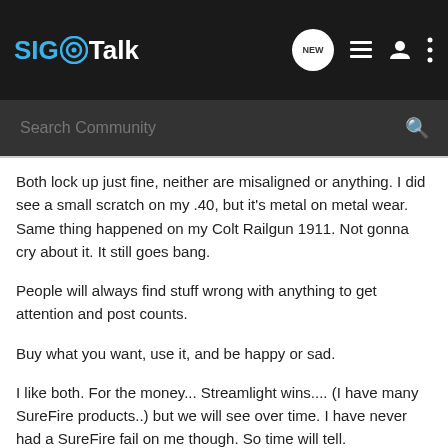SIG Talk
Both lock up just fine, neither are misaligned or anything. I did see a small scratch on my .40, but it's metal on metal wear. Same thing happened on my Colt Railgun 1911. Not gonna cry about it. It still goes bang.
People will always find stuff wrong with anything to get attention and post counts.
Buy what you want, use it, and be happy or sad.
I like both. For the money... Streamlight wins.... (I have many SureFire products..) but we will see over time. I have never had a SureFire fail on me though. So time will tell.
Good luck bud!